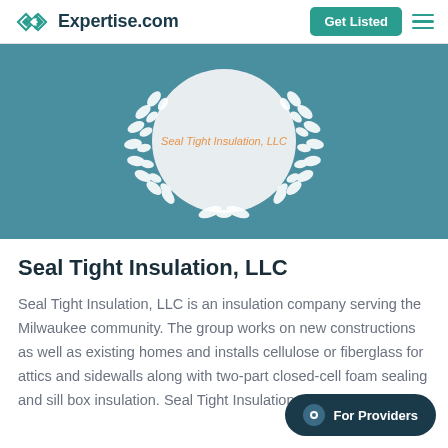Expertise.com
[Figure (logo): Expertise.com logo banner with laurel wreath and 'Seal Tight Insulation, LLC' text inside a circle, on teal background]
Seal Tight Insulation, LLC
Seal Tight Insulation, LLC is an insulation company serving the Milwaukee community. The group works on new constructions as well as existing homes and installs cellulose or fiberglass for attics and sidewalls along with two-part closed-cell foam sealing and sill box insulation. Seal Tight Insulation